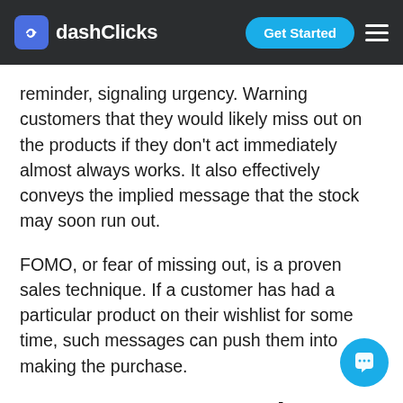dashClicks | Get Started
reminder, signaling urgency. Warning customers that they would likely miss out on the products if they don't act immediately almost always works. It also effectively conveys the implied message that the stock may soon run out.
FOMO, or fear of missing out, is a proven sales technique. If a customer has had a particular product on their wishlist for some time, such messages can push them into making the purchase.
7: “Important Weather Advisory”